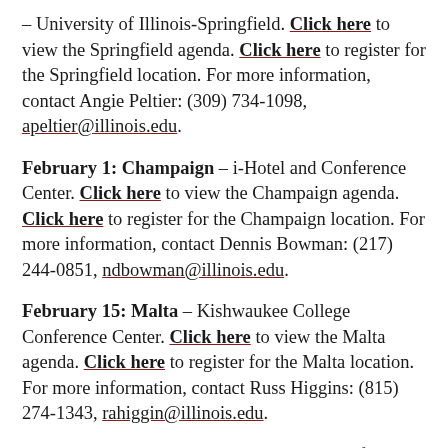– University of Illinois-Springfield. Click here to view the Springfield agenda. Click here to register for the Springfield location. For more information, contact Angie Peltier: (309) 734-1098, apeltier@illinois.edu.
February 1: Champaign – i-Hotel and Conference Center. Click here to view the Champaign agenda. Click here to register for the Champaign location. For more information, contact Dennis Bowman: (217) 244-0851, ndbowman@illinois.edu.
February 15: Malta – Kishwaukee College Conference Center. Click here to view the Malta agenda. Click here to register for the Malta location. For more information, contact Russ Higgins: (815) 274-1343, rahiggin@illinois.edu.
Mail-in registrations must arrive one week before each conference date to be...